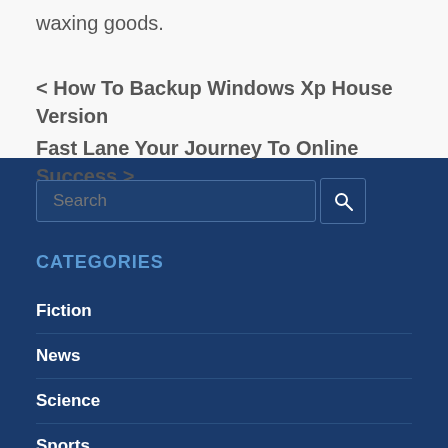waxing goods.
< How To Backup Windows Xp House Version
Fast Lane Your Journey To Online Success >
CATEGORIES
Fiction
News
Science
Sports